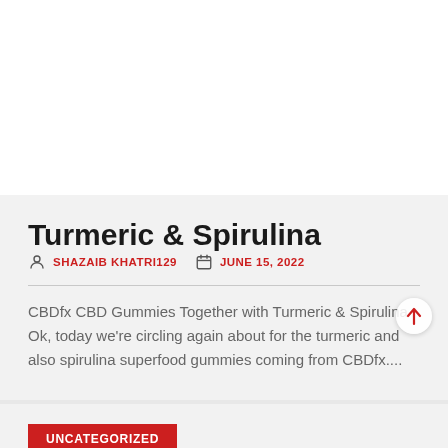Turmeric & Spirulina
SHAZAIB KHATRI129   JUNE 15, 2022
CBDfx CBD Gummies Together with Turmeric & Spirulina Ok, today we're circling again about for the turmeric and also spirulina superfood gummies coming from CBDfx....
UNCATEGORIZED